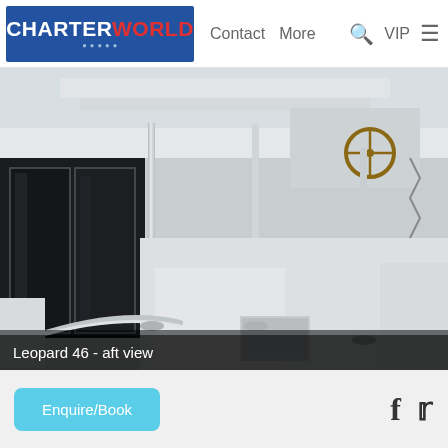CHARTERWORLD | Contact | More | VIP
[Figure (photo): Aft view of a Leopard 46 catamaran showing the cockpit area with stainless steel stanchions, helm station with wooden steering wheel, black sliding glass doors, and white deck surfaces.]
Leopard 46 - aft view
Enquire/Book
[Figure (other): Facebook and Twitter social media icons]